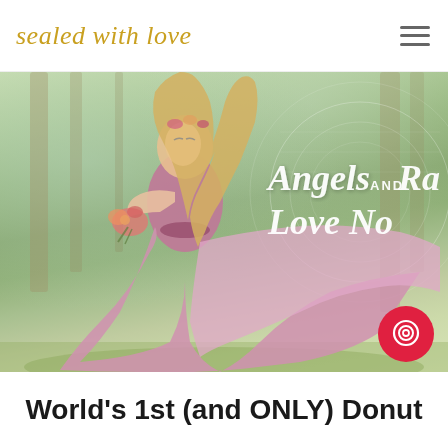sealed with love
[Figure (photo): Hero image of a woman in a flowing pink/mauve dress holding flowers, standing in a green outdoor setting. Overlaid white italic text reads 'Angels AND Ra... Love No...' (partially cut off at right edge). A red circular button with a chat icon is in the lower right of the image.]
World's 1st (and ONLY) Donut